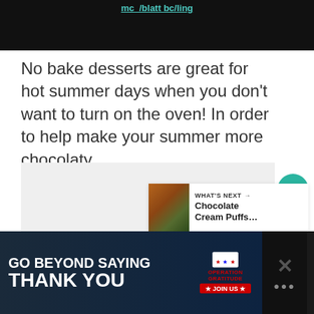[Figure (screenshot): Black header bar with teal underlined link text]
No bake desserts are great for hot summer days when you don't want to turn on the oven! In order to help make your summer more chocolaty.
[Figure (photo): Gray content image area placeholder with social interaction buttons (heart icon, 4.3K count, share icon) on the right side]
[Figure (screenshot): What's Next panel showing Chocolate Cream Puffs... with thumbnail]
[Figure (screenshot): Advertisement bar at bottom: GO BEYOND SAYING THANK YOU - Operation Gratitude JOIN US]